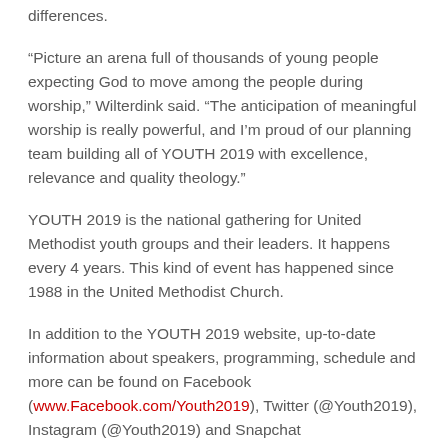differences.
“Picture an arena full of thousands of young people expecting God to move among the people during worship,” Wilterdink said. “The anticipation of meaningful worship is really powerful, and I’m proud of our planning team building all of YOUTH 2019 with excellence, relevance and quality theology.”
YOUTH 2019 is the national gathering for United Methodist youth groups and their leaders. It happens every 4 years. This kind of event has happened since 1988 in the United Methodist Church.
In addition to the YOUTH 2019 website, up-to-date information about speakers, programming, schedule and more can be found on Facebook (www.Facebook.com/Youth2019), Twitter (@Youth2019), Instagram (@Youth2019) and Snapchat (umcyouth2019).